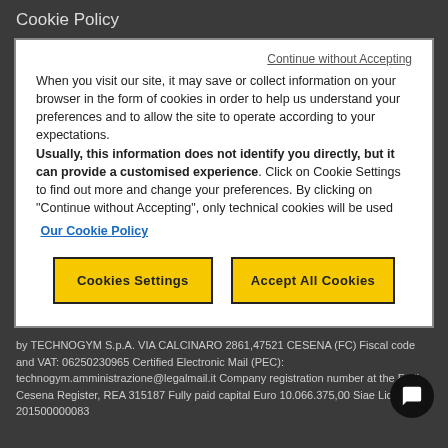Cookie Policy
Continue without Accepting
When you visit our site, it may save or collect information on your browser in the form of cookies in order to help us understand your preferences and to allow the site to operate according to your expectations. Usually, this information does not identify you directly, but it can provide a customised experience. Click on Cookie Settings to find out more and change your preferences. By clicking on "Continue without Accepting", only technical cookies will be used
Our Cookie Policy
Cookies Settings
Accept All Cookies
by TECHNOGYM S.p.A. VIA CALCINARO 2861,47521 CESENA (FC) Fiscal code and VAT: 06250230965 Certified Electronic Mail (PEC): technogym.amministrazione@legalmail.it Company registration number at the Forli-Cesena Register, REA 315187 Fully paid capital Euro 10.066.375,00 Siae License 201500000083